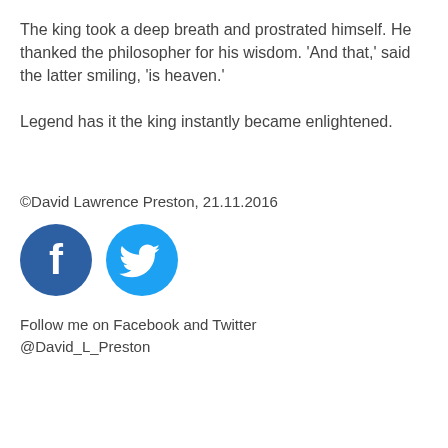The king took a deep breath and prostrated himself. He thanked the philosopher for his wisdom. ‘And that,’ said the latter smiling, ‘is heaven.’
Legend has it the king instantly became enlightened.
©David Lawrence Preston, 21.11.2016
[Figure (illustration): Facebook and Twitter social media icon buttons — dark blue Facebook circle with white 'f' logo, and light blue Twitter circle with white bird logo]
Follow me on Facebook and Twitter @David_L_Preston